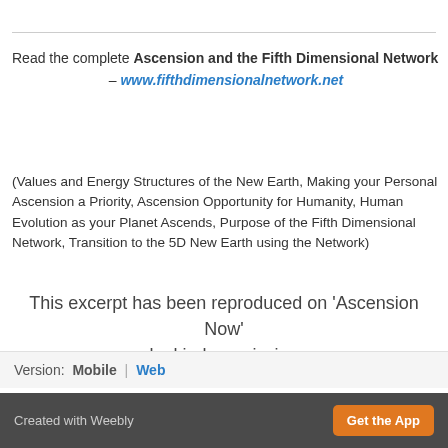Read the complete Ascension and the Fifth Dimensional Network – www.fifthdimensionalnetwork.net
(Values and Energy Structures of the New Earth, Making your Personal Ascension a Priority, Ascension Opportunity for Humanity, Human Evolution as your Planet Ascends, Purpose of the Fifth Dimensional Network, Transition to the 5D New Earth using the Network)
This excerpt has been reproduced on 'Ascension Now' by kind permission Of Andrew Smith
Version: Mobile | Web
Created with Weebly  Get the App